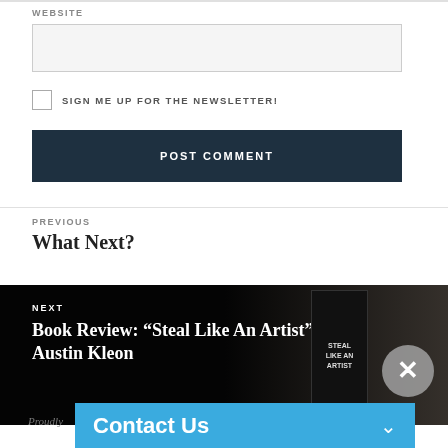WEBSITE
SIGN ME UP FOR THE NEWSLETTER!
POST COMMENT
PREVIOUS
What Next?
NEXT
Book Review: “Steal Like An Artist” by Austin Kleon
Proudly
Contact Us